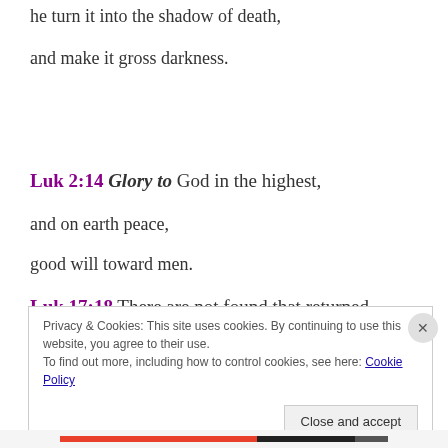he turn it into the shadow of death,
and make it gross darkness.
Luk 2:14 Glory to God in the highest,
and on earth peace,
good will toward men.
Luk 17:18 There are not found that returned
Privacy & Cookies: This site uses cookies. By continuing to use this website, you agree to their use.
To find out more, including how to control cookies, see here: Cookie Policy
Close and accept